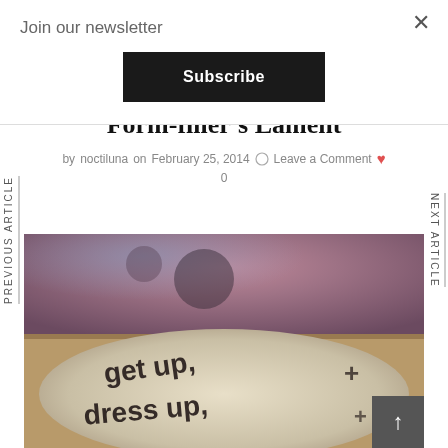Form-filler's Lament
Join our newsletter
Subscribe
Form-filler's Lament
by noctiluna on February 25, 2014  Leave a Comment  0
[Figure (photo): A photograph of a large smooth stone with handwritten text reading 'get up, dress up,']
PREVIOUS ARTICLE
NEXT ARTICLE